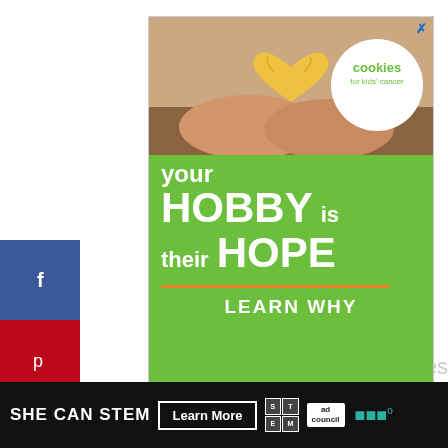[Figure (screenshot): Social media share sidebar with Facebook (f), Pinterest (p), Flipboard (f), and Twitter bird icons on colored backgrounds (blue, red, orange-red, blue)]
[Figure (illustration): Advertisement banner for 'cookies for kids cancer'. Green background with hands holding a heart-shaped cookie, white circle logo top right saying 'cookies for kids cancer', white bold text: 'your HOBBY is their HOPE', orange horizontal rule, white bold text 'LEARN WHY'. Blue X close button top right corner.]
2053
SHARES
[Figure (illustration): Teal circular heart/love button with 2.1K count below, and a share button (circle with share icon)]
[Figure (screenshot): Black bottom banner ad: 'SHE CAN STEM' in white bold, 'Learn More' white-outlined button, STEM grid logo, Ad Council logo, dots logo]